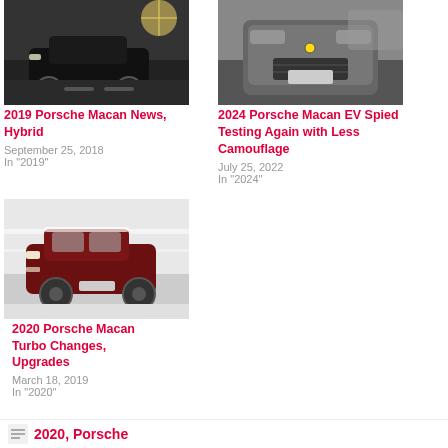[Figure (photo): Dark SUV (Porsche Macan) driving on a road with sunlight flare, top-left card image]
2019 Porsche Macan News, Hybrid
September 25, 2018
In "2019"
[Figure (photo): Gray Porsche Macan EV with camouflage wrap, front view, top-right card image]
2024 Porsche Macan EV Spied Testing Again with Less Camouflage
July 25, 2022
In "2024"
[Figure (photo): Red/dark Porsche Macan Turbo driving in snowy winter conditions, bottom-left card image]
2020 Porsche Macan Turbo Changes, Upgrades
March 18, 2019
In "2020"
2020, Porsche